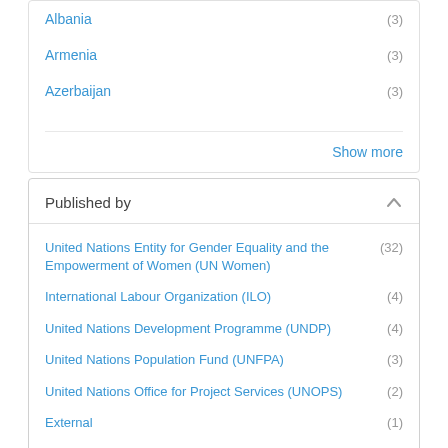Albania (3)
Armenia (3)
Azerbaijan (3)
Show more
Published by
United Nations Entity for Gender Equality and the Empowerment of Women (UN Women) (32)
International Labour Organization (ILO) (4)
United Nations Development Programme (UNDP) (4)
United Nations Population Fund (UNFPA) (3)
United Nations Office for Project Services (UNOPS) (2)
External (1)
Food and Agriculture Organization (FAO) (1)
International Fund for Agricultural Development (IFAD) (1)
UN (1)
United Nations Children's Fund (UNICEF) (1)